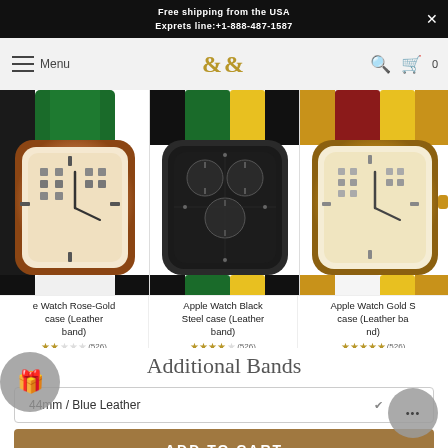Free shipping from the USA
Exprets line:+1-888-487-1587
[Figure (screenshot): E&C brand logo and navigation bar with menu, search, and cart icons]
[Figure (photo): Three Apple Watch products with leather bands: Rose-Gold case, Black Steel case, Gold S case. Each showing rating (526 reviews), sale price $219.90, original price $499.90]
e Watch Rose-Gold case (Leather band)
Apple Watch Black Steel case (Leather band)
Apple Watch Gold S case (Leather band)
Additional Bands
44mm / Blue Leather
ADD TO CART